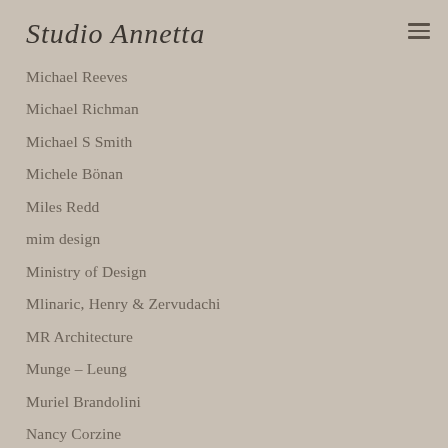Studio Annetta
Michael Reeves
Michael Richman
Michael S Smith
Michele Bönan
Miles Redd
mim design
Ministry of Design
Mlinaric, Henry & Zervudachi
MR Architecture
Munge – Leung
Muriel Brandolini
Nancy Corzine
Nate Berkus
Nathan ~ Egan
Neri & Hu
Nexus